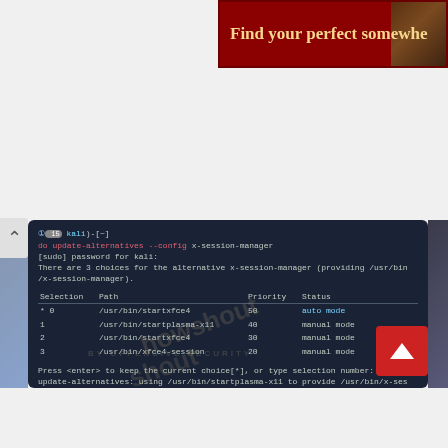[Figure (screenshot): Red advertisement banner with text 'Find your perfect somewhe' (truncated) in gold serif font on dark red background with partial nature photo]
[Figure (screenshot): Kali Linux terminal screenshot showing sudo update-alternatives --config x-session-manager command output. Lists 4 choices (0-3) for x-session-manager including startxfce4 (auto mode), startplasma-x11, startxfce4, xfce4-session. User selects option 1 (startplasma-x11). Shows new prompt after completion. Watermark 'howshout' and 'BY OFFENSIVE SECURITY' overlay. Red scroll-up button in bottom right.]